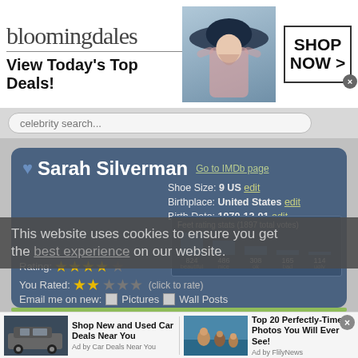[Figure (screenshot): Bloomingdales advertisement banner with logo, tagline 'View Today's Top Deals!', woman in hat image, and 'SHOP NOW >' button]
celebrity search...
Sarah Silverman
Go to IMDb page
Shoe Size: 9 US edit
Birthplace: United States edit
Birth Date: 1970-12-01 edit
[Figure (bar-chart): Feet rating stats (1897 total votes)]
This website uses cookies to ensure you get the best experience on our website.
Rating: ★★★★☆
You Rated: ★★★☆☆ (click to rate)
Email me on new:  ☐ Pictures  ☐ Wall Posts
[Figure (photo): Ad: Shop New and Used Car Deals Near You - shows SUV vehicle, Ad by Car Deals Near You]
[Figure (photo): Ad: Top 20 Perfectly-Time Photos You Will Ever See! - shows beach photo, Ad by FlilyNews]